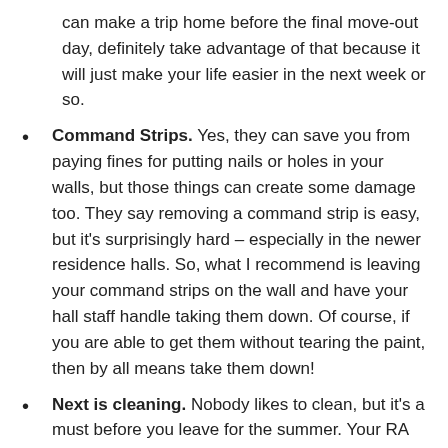can make a trip home before the final move-out day, definitely take advantage of that because it will just make your life easier in the next week or so.
Command Strips. Yes, they can save you from paying fines for putting nails or holes in your walls, but those things can create some damage too. They say removing a command strip is easy, but it's surprisingly hard – especially in the newer residence halls. So, what I recommend is leaving your command strips on the wall and have your hall staff handle taking them down. Of course, if you are able to get them without tearing the paint, then by all means take them down!
Next is cleaning. Nobody likes to clean, but it's a must before you leave for the summer. Your RA won't let you leave without cleaning your room first, so